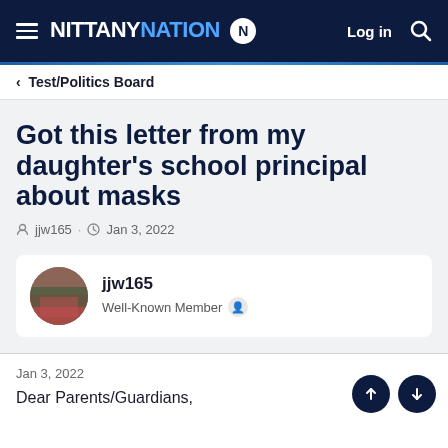NITTANY NATION
Test/Politics Board
Got this letter from my daughter's school principal about masks
jjw165 · Jan 3, 2022
jjw165
Well-Known Member
Jan 3, 2022
Dear Parents/Guardians,